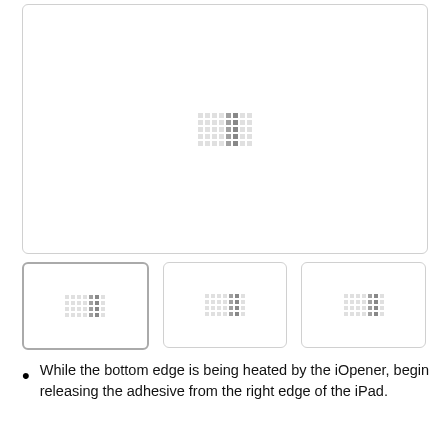[Figure (photo): Large main image placeholder with a pixel/loading pattern in the center, white background with light gray border]
[Figure (photo): First thumbnail (selected/active border) with pixel loading pattern]
[Figure (photo): Second thumbnail with pixel loading pattern]
[Figure (photo): Third thumbnail with pixel loading pattern]
While the bottom edge is being heated by the iOpener, begin releasing the adhesive from the right edge of the iPad.